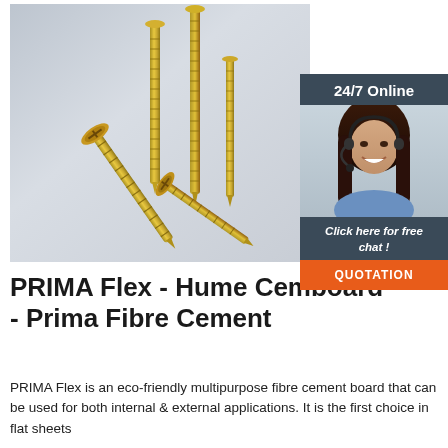[Figure (photo): Photo of multiple gold/yellow zinc-plated wood screws of varying lengths arranged on a light grey surface, with watermark text 'MONSUN' in the middle. On the right side, a dark grey chat widget showing '24/7 Online', a photo of a woman with headset smiling, 'Click here for free chat!' text, and an orange 'QUOTATION' button.]
PRIMA Flex - Hume Cemboard - Prima Fibre Cement
PRIMA Flex is an eco-friendly multipurpose fibre cement board that can be used for both internal & external applications. It is the first choice in flat sheets